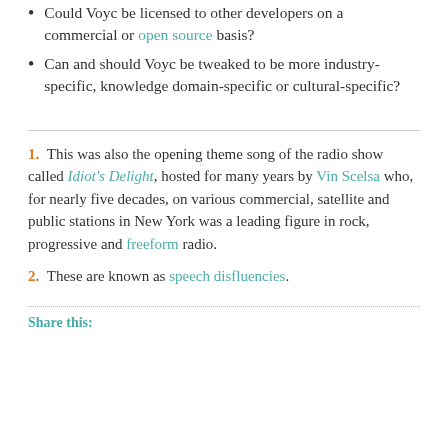Could Voyc be licensed to other developers on a commercial or open source basis?
Can and should Voyc be tweaked to be more industry-specific, knowledge domain-specific or cultural-specific?
1.  This was also the opening theme song of the radio show called Idiot's Delight, hosted for many years by Vin Scelsa who, for nearly five decades, on various commercial, satellite and public stations in New York was a leading figure in rock, progressive and freeform radio.
2.  These are known as speech disfluencies.
Share this: